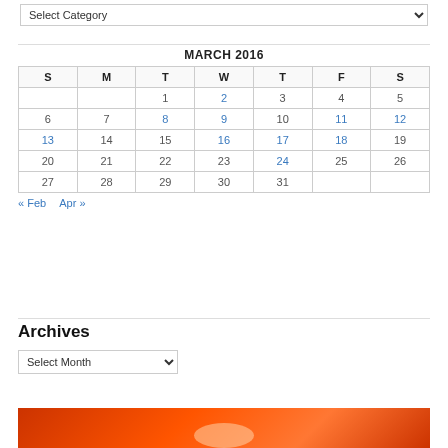Select Category
| S | M | T | W | T | F | S |
| --- | --- | --- | --- | --- | --- | --- |
|  |  | 1 | 2 | 3 | 4 | 5 |
| 6 | 7 | 8 | 9 | 10 | 11 | 12 |
| 13 | 14 | 15 | 16 | 17 | 18 | 19 |
| 20 | 21 | 22 | 23 | 24 | 25 | 26 |
| 27 | 28 | 29 | 30 | 31 |  |  |
« Feb   Apr »
Archives
Select Month
[Figure (photo): Orange/red background image at bottom of page]